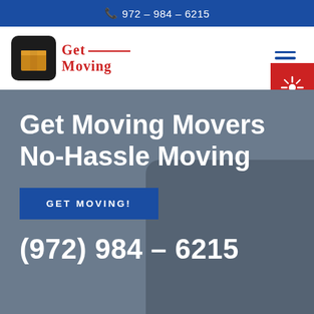📞 972 – 984 – 6215
[Figure (logo): Get Moving company logo with brown cardboard box icon on dark background, red serif text reading GET MOVING with horizontal line between words]
Get Moving Movers No-Hassle Moving
GET MOVING!
(972) 984 – 6215